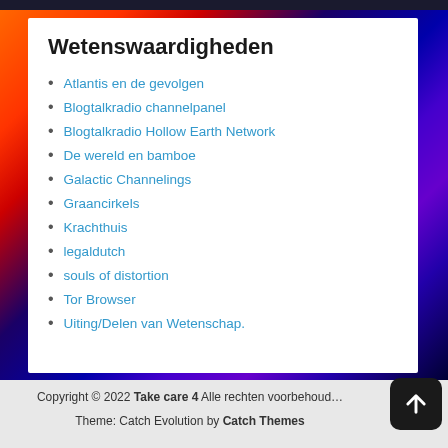Wetenswaardigheden
Atlantis en de gevolgen
Blogtalkradio channelpanel
Blogtalkradio Hollow Earth Network
De wereld en bamboe
Galactic Channelings
Graancirkels
Krachthuis
legaldutch
souls of distortion
Tor Browser
Uiting/Delen van Wetenschap.
Copyright © 2022 Take care 4 Alle rechten voorbehouden. Theme: Catch Evolution by Catch Themes